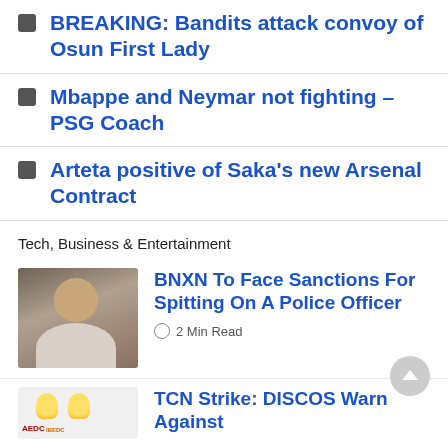BREAKING: Bandits attack convoy of Osun First Lady
Mbappe and Neymar not fighting – PSG Coach
Arteta positive of Saka's new Arsenal Contract
Tech, Business & Entertainment
[Figure (photo): Portrait of a young man in a light blazer]
BNXN To Face Sanctions For Spitting On A Police Officer
2 Min Read
[Figure (logo): AEDC and IBEDC logos with lightbulb icons]
TCN Strike: DISCOS Warn Against